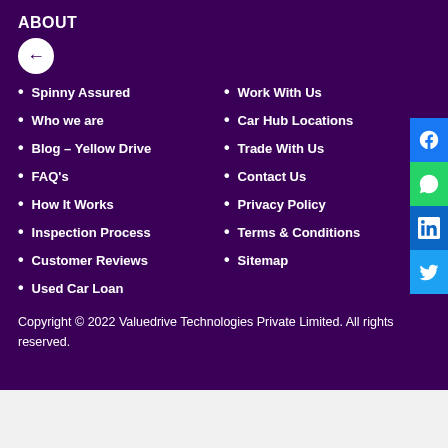ABOUT
Spinny Assured
Who we are
Blog – Yellow Drive
FAQ's
How It Works
Inspection Process
Customer Reviews
Used Car Loan
Work With Us
Car Hub Locations
Trade With Us
Contact Us
Privacy Policy
Terms & Conditions
Sitemap
Copyright © 2022 Valuedrive Technologies Private Limited. All rights reserved.